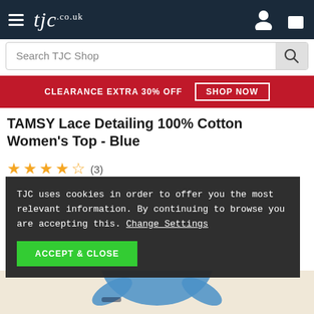[Figure (screenshot): TJC.co.uk navigation bar with hamburger menu, TJC logo, user icon and shopping bag icon on dark navy background]
[Figure (screenshot): Search bar with placeholder text 'Search TJC Shop' and a search icon button]
[Figure (screenshot): Red promotional banner with text 'CLEARANCE EXTRA 30% OFF' and 'SHOP NOW' button]
TAMSY Lace Detailing 100% Cotton Women's Top - Blue
[Figure (screenshot): 4.5 star rating with 5 orange stars and review count (3)]
TJC uses cookies in order to offer you the most relevant information. By continuing to browse you are accepting this. Change Settings
[Figure (screenshot): ACCEPT & CLOSE green button in cookie consent overlay]
[Figure (photo): Woman wearing blue TAMSY lace detail cotton top, photo partially visible at bottom of page]